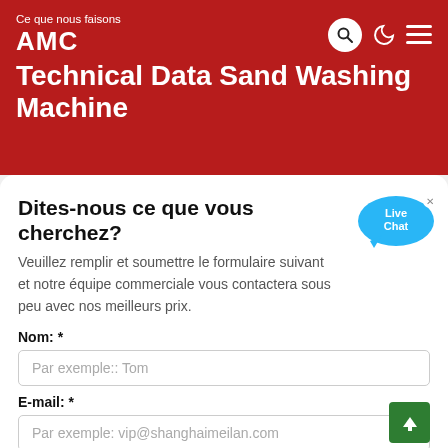Ce que nous faisons
AMC Technical Data Sand Washing Machine
Dites-nous ce que vous cherchez?
Veuillez remplir et soumettre le formulaire suivant et notre équipe commerciale vous contactera sous peu avec nos meilleurs prix.
Nom: *
Par exemple:: Tom
E-mail: *
Par exemple: vip@shanghaimeilan.com
Téléphoner: *